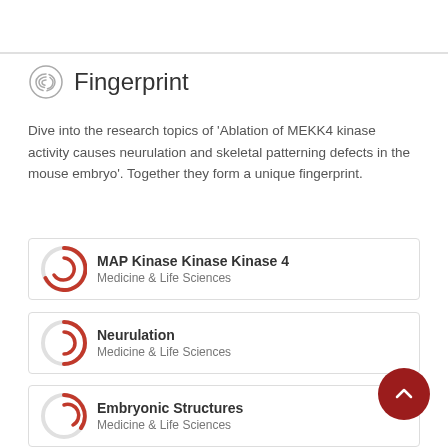Fingerprint
Dive into the research topics of 'Ablation of MEKK4 kinase activity causes neurulation and skeletal patterning defects in the mouse embryo'. Together they form a unique fingerprint.
MAP Kinase Kinase Kinase 4 — Medicine & Life Sciences
Neurulation — Medicine & Life Sciences
Embryonic Structures — Medicine & Life Sciences